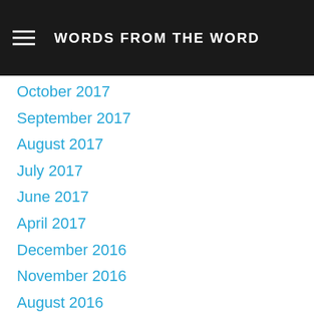WORDS FROM THE WORD
January 2018
December 2017
October 2017
September 2017
August 2017
July 2017
June 2017
April 2017
December 2016
November 2016
August 2016
May 2016
January 2016
December 2015
November 2015
July 2015
January 2015
December 2014
September 2011